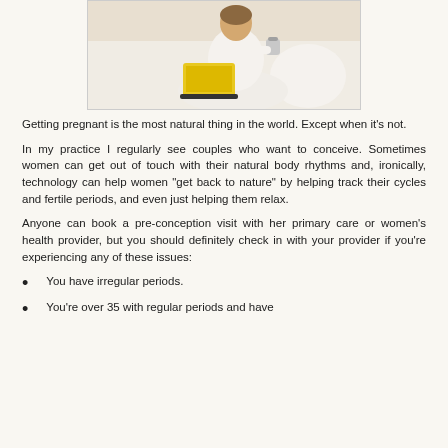[Figure (photo): A pregnant woman sitting cross-legged on a white couch, using a yellow laptop and holding a cup]
Getting pregnant is the most natural thing in the world. Except when it's not.
In my practice I regularly see couples who want to conceive. Sometimes women can get out of touch with their natural body rhythms and, ironically, technology can help women "get back to nature" by helping track their cycles and fertile periods, and even just helping them relax.
Anyone can book a pre-conception visit with her primary care or women's health provider, but you should definitely check in with your provider if you're experiencing any of these issues:
You have irregular periods.
You're over 35 with regular periods and have